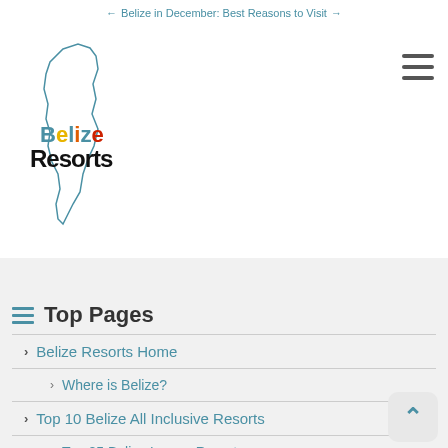← Belize in December: Best Reasons to Visit →
[Figure (logo): Belize Resorts logo with colorful text and map outline of Belize]
Top Pages
Belize Resorts Home
Where is Belize?
Top 10 Belize All Inclusive Resorts
Top 25 Belize Luxury Resorts